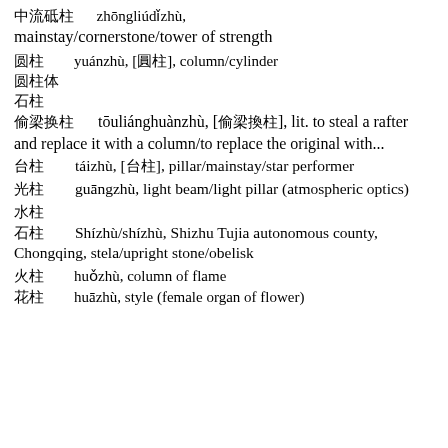中流砥柱 zhōngliúdǐzhù,
mainstay/cornerstone/tower of strength
圆柱 yuánzhù, [圓柱], column/cylinder
圆柱体
石柱
偷梁换柱 tōuliánghuànzhù, [偷梁換柱], lit. to steal a rafter and replace it with a column/to replace the original with...
台柱 táizhù, [台柱], pillar/mainstay/star performer
光柱 guāngzhù, light beam/light pillar (atmospheric optics)
水柱
石柱 Shízhù/shízhù, Shizhu Tujia autonomous county, Chongqing, stela/upright stone/obelisk
火柱 huǒzhù, column of flame
花柱 huāzhù, style (female organ of flower)